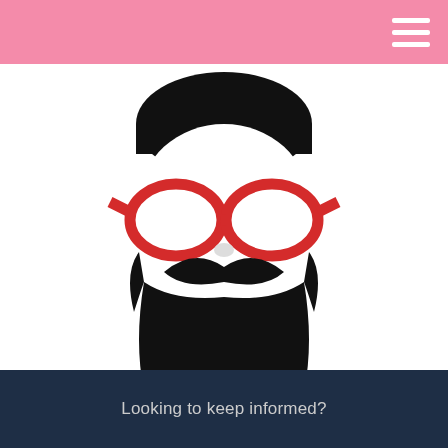[Figure (logo): Fergs Coffee logo: stylized illustration of a bearded man's face with black hair, red-framed glasses, and a large black beard/mustache, above the text 'fergs coffee™' in bold black lowercase font]
[Figure (illustration): Green circular chat/message icon button on the right side]
[Figure (illustration): Back to Top button with colorful ink splash background in red and blue, text 'BACK TO TOP' in white bold font]
Looking to keep informed?